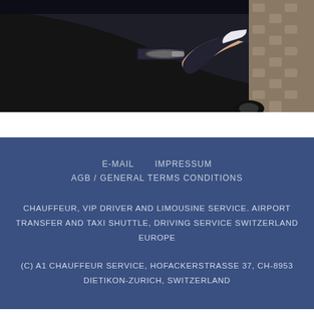[Figure (photo): A chauffeur in a suit opening the door of a black luxury car, with a cobblestone road visible in the background.]
E-MAIL    IMPRESSUM
AGB / GENERAL TERMS CONDITIONS
CHAUFFEUR, VIP DRIVER AND LIMOUSINE SERVICE. AIRPORT TRANSFER AND TAXI SHUTTLE, DRIVING SERVICE SWITZERLAND EUROPE
(C) A1 CHAUFFEUR SERVICE, HOFACKERSTRASSE 37, CH-8953 DIETIKON-ZURICH, SWITZERLAND